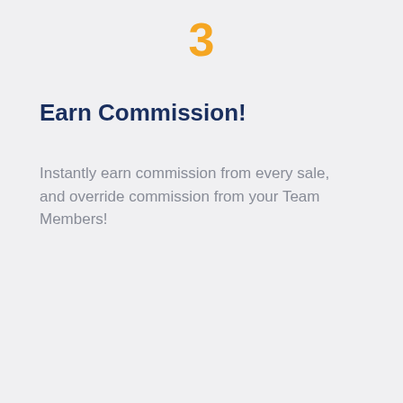3
Earn Commission!
Instantly earn commission from every sale, and override commission from your Team Members!